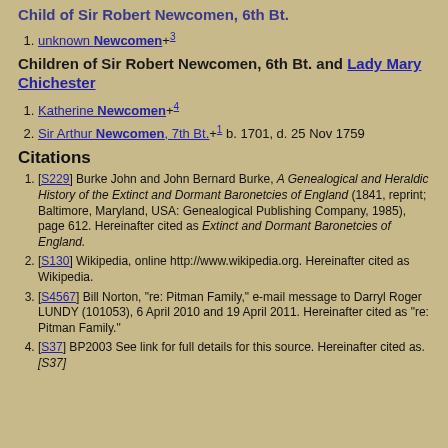Child of Sir Robert Newcomen, 6th Bt.
unknown Newcomen+3
Children of Sir Robert Newcomen, 6th Bt. and Lady Mary Chichester
Katherine Newcomen+4
Sir Arthur Newcomen, 7th Bt.+1 b. 1701, d. 25 Nov 1759
Citations
[S229] Burke John and John Bernard Burke, A Genealogical and Heraldic History of the Extinct and Dormant Baronetcies of England (1841, reprint; Baltimore, Maryland, USA: Genealogical Publishing Company, 1985), page 612. Hereinafter cited as Extinct and Dormant Baronetcies of England.
[S130] Wikipedia, online http://www.wikipedia.org. Hereinafter cited as Wikipedia.
[S4567] Bill Norton, "re: Pitman Family," e-mail message to Darryl Roger LUNDY (101053), 6 April 2010 and 19 April 2011. Hereinafter cited as "re: Pitman Family."
[S37] BP2003 See link for full details for this source. Hereinafter cited as. [S37]